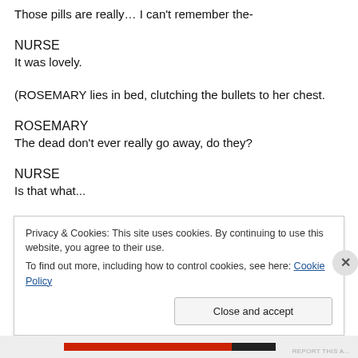Those pills are really… I can't remember the-
NURSE
It was lovely.
(ROSEMARY lies in bed, clutching the bullets to her chest.
ROSEMARY
The dead don't ever really go away, do they?
NURSE
Is that what...
Privacy & Cookies: This site uses cookies. By continuing to use this website, you agree to their use.
To find out more, including how to control cookies, see here: Cookie Policy
Close and accept